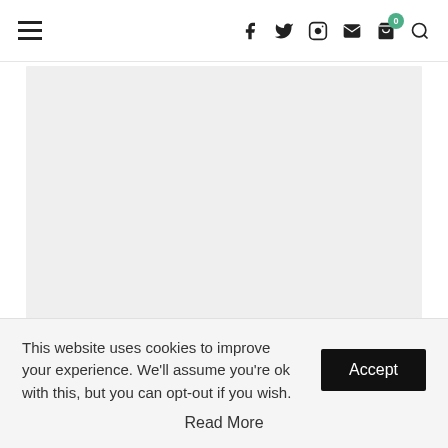Navigation bar with hamburger menu and icons: facebook, twitter, instagram, email, cart (0), search
[Figure (photo): Large light gray image placeholder rectangle]
KUNDALINI YOGA & THE AQUARIAN AGE WITH GURU DHARAM
This website uses cookies to improve your experience. We'll assume you're ok with this, but you can opt-out if you wish. Accept
Read More